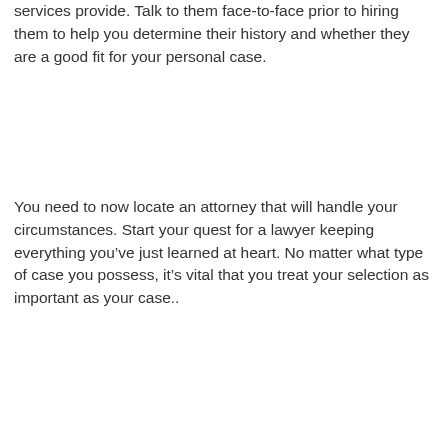services provide. Talk to them face-to-face prior to hiring them to help you determine their history and whether they are a good fit for your personal case.
You need to now locate an attorney that will handle your circumstances. Start your quest for a lawyer keeping everything you've just learned at heart. No matter what type of case you possess, it's vital that you treat your selection as important as your case..
[Figure (map): Google Maps screenshot showing downtown Dallas area with markers for Electric Delivery - Headquarters, Fashion Industry Galle(ry), Fairmont Dallas (pink marker with hotel icon), two other markers (orange coffee and pink hotel), Dakota's S(teakhouse) label in orange, N Field S(t) street label, and Fountain Place label with a blue marker at the bottom.]